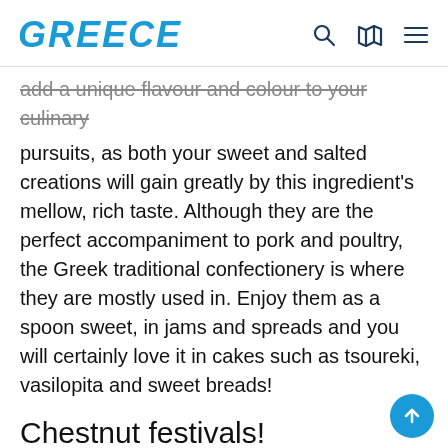GREECE
add a unique flavour and colour to your culinary pursuits, as both your sweet and salted creations will gain greatly by this ingredient's mellow, rich taste. Although they are the perfect accompaniment to pork and poultry, the Greek traditional confectionery is where they are mostly used in. Enjoy them as a spoon sweet, in jams and spreads and you will certainly love it in cakes such as tsoureki, vasilopita and sweet breads!
Chestnut festivals!
Chestnuts grow everywhere in Greece in Macedonian forests in the north and all the way down to Cretan mountains in the south; the new harvest is cause for celebration in many parts of the country. Join the